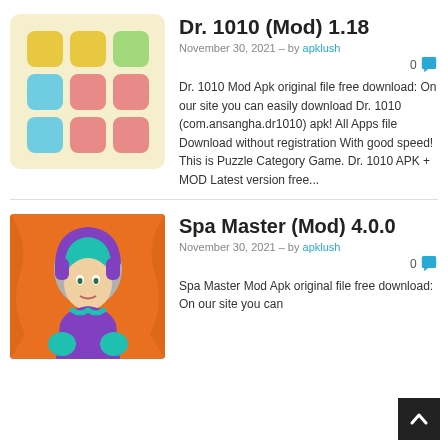[Figure (illustration): Dr. 1010 app icon: colorful grid of rounded squares (yellow, green, pink, blue) on light yellow background]
Dr. 1010 (Mod) 1.18
November 30, 2021 – by apklush
0
Dr. 1010 Mod Apk original file free download: On our site you can easily download Dr. 1010 (com.ansangha.dr1010) apk! All Apps file Download without registration With good speed! This is Puzzle Category Game. Dr. 1010 APK + MOD Latest version free...
[Figure (illustration): Spa Master app icon: cartoon female character with teal hair, purple accessories, on orange background]
Spa Master (Mod) 4.0.0
November 30, 2021 – by apklush
0
Spa Master Mod Apk original file free download: On our site you can